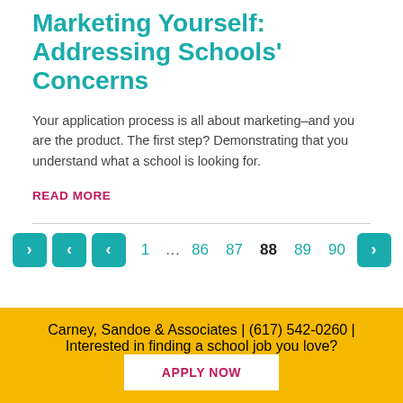Marketing Yourself: Addressing Schools' Concerns
Your application process is all about marketing–and you are the product. The first step? Demonstrating that you understand what a school is looking for.
READ MORE
< 1 … 86 87 88 89 90 >
Carney, Sandoe & Associates | (617) 542-0260 | Interested in finding a school job you love? APPLY NOW